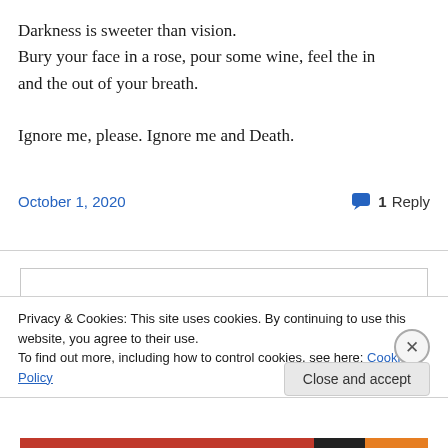Darkness is sweeter than vision.
Bury your face in a rose, pour some wine, feel the in and the out of your breath.

Ignore me, please. Ignore me and Death.
October 1, 2020
1 Reply
Privacy & Cookies: This site uses cookies. By continuing to use this website, you agree to their use.
To find out more, including how to control cookies, see here: Cookie Policy
Close and accept